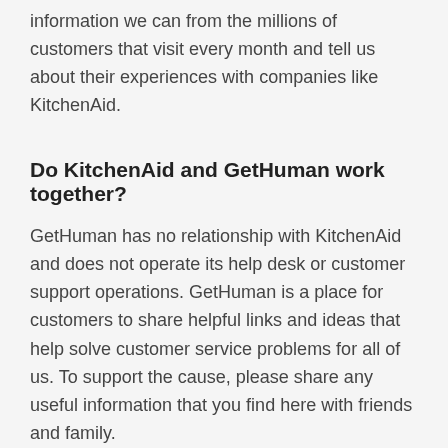information we can from the millions of customers that visit every month and tell us about their experiences with companies like KitchenAid.
Do KitchenAid and GetHuman work together?
GetHuman has no relationship with KitchenAid and does not operate its help desk or customer support operations. GetHuman is a place for customers to share helpful links and ideas that help solve customer service problems for all of us. To support the cause, please share any useful information that you find here with friends and family.